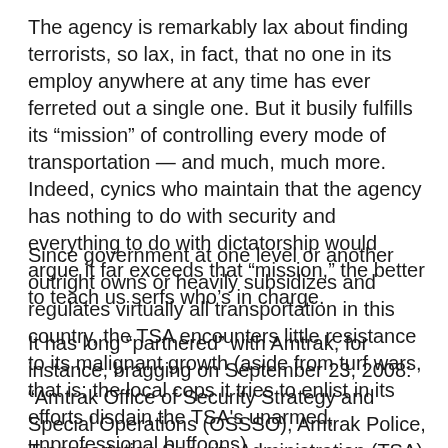The agency is remarkably lax about finding terrorists, so lax, in fact, that no one in its employ anywhere at any time has ever ferreted out a single one. But it busily fulfills its “mission” of controlling every mode of transportation — and much, much more. Indeed, cynics who maintain that the agency has nothing to do with security and everything to do with dictatorship would argue it far exceeds that “mission,” the better to teach us serfs who’s in charge.
Since government at one level or another outright owns or heavily subsidizes and regulates virtually all transportation in this country, the TSA encounters little resistance to its malignant growth (aside from turf wars, that is: the local cops it tries to enlist in its efforts disdain the TSA's unarmed, unprofessional buffoons).
It has long “partnered” with Amtrak, for instance, bragging on September 23, 2008: “Amtrak Office of Security Strategy and Special Operations (OSSSO), Amtrak Police, Transportation Security Administration (TSA) personnel and officers from approximately 100 commuter rail, state, and local police agencies mobilized today for the largest joint.